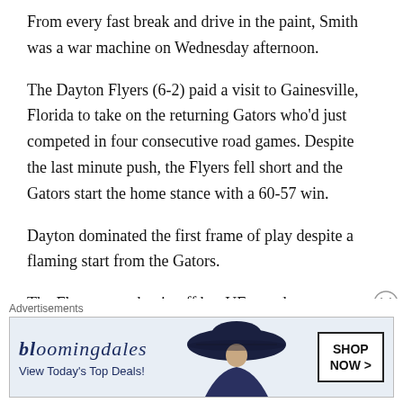From every fast break and drive in the paint, Smith was a war machine on Wednesday afternoon.
The Dayton Flyers (6-2) paid a visit to Gainesville, Florida to take on the returning Gators who'd just competed in four consecutive road games. Despite the last minute push, the Flyers fell short and the Gators start the home stance with a 60-57 win.
Dayton dominated the first frame of play despite a flaming start from the Gators.
The Flyers won the tip off but UF guard
Advertisements
[Figure (other): Bloomingdale's advertisement banner showing logo, 'View Today's Top Deals!' text, a woman in a wide-brim hat, and a 'SHOP NOW >' call-to-action button]